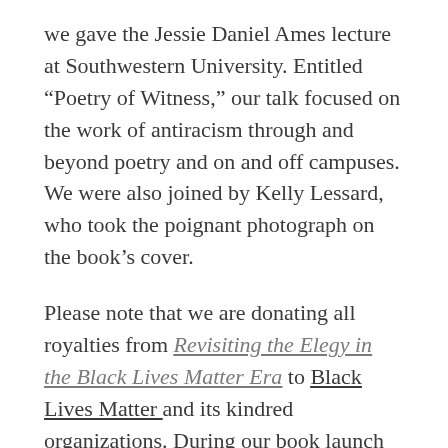we gave the Jessie Daniel Ames lecture at Southwestern University. Entitled “Poetry of Witness,” our talk focused on the work of antiracism through and beyond poetry and on and off campuses. We were also joined by Kelly Lessard, who took the poignant photograph on the book’s cover.
Please note that we are donating all royalties from Revisiting the Elegy in the Black Lives Matter Era to Black Lives Matter and its kindred organizations. During our book launch in Austin, we raised an additional $191 to support the movement. Let’s keep this momentum up!
https://secure.actblue.com/donate/m-blm-b...